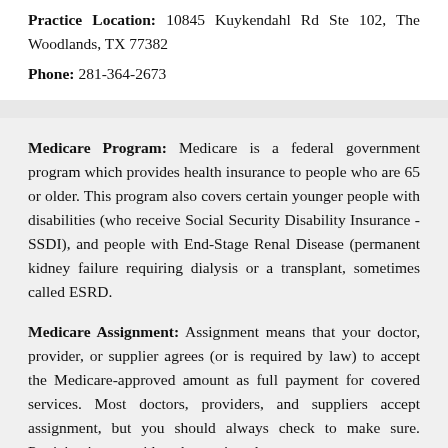Practice Location: 10845 Kuykendahl Rd Ste 102, The Woodlands, TX 77382
Phone: 281-364-2673
Medicare Program: Medicare is a federal government program which provides health insurance to people who are 65 or older. This program also covers certain younger people with disabilities (who receive Social Security Disability Insurance - SSDI), and people with End-Stage Renal Disease (permanent kidney failure requiring dialysis or a transplant, sometimes called ESRD.
Medicare Assignment: Assignment means that your doctor, provider, or supplier agrees (or is required by law) to accept the Medicare-approved amount as full payment for covered services. Most doctors, providers, and suppliers accept assignment, but you should always check to make sure. Participating providers have signed an agreement to accept assignment for all Medicare-